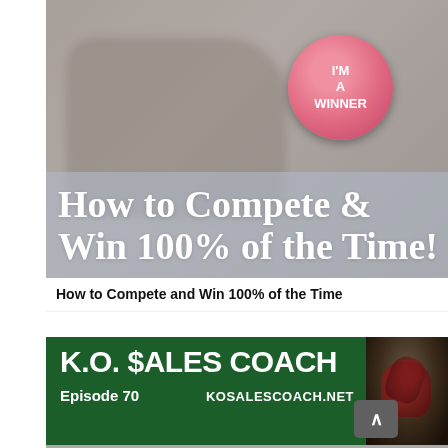[Figure (photo): Blurred background photo of a hand holding a pink glittery 'I'M A WINNER' badge/button]
How to Compete &
Win 100% of the Time!
How to Compete and Win 100% of the Time
[Figure (logo): K.O. $ALES COACH podcast banner - Episode 70, KOSALESCOACH.NET, with boxing gloves thumbnail image on dark green background]
[Figure (photo): Bottom strip showing two photos: left is an office/business setting with monitors, right is a kiosk or display area]